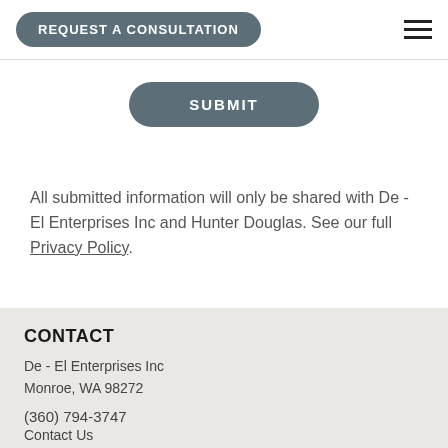REQUEST A CONSULTATION
SUBMIT
All submitted information will only be shared with De - El Enterprises Inc and Hunter Douglas. See our full Privacy Policy.
CONTACT
De - El Enterprises Inc
Monroe, WA 98272
(360) 794-3747
Contact Us
In Home Consultations Only